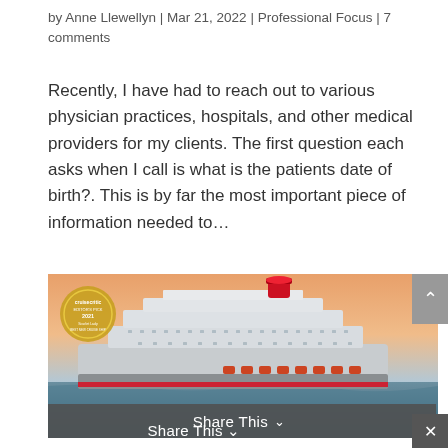by Anne Llewellyn | Mar 21, 2022 | Professional Focus | 7 comments
Recently, I have had to reach out to various physician practices, hospitals, and other medical providers for my clients. The first question each asks when I call is what is the patients date of birth?. This is by far the most important piece of information needed to…
[Figure (photo): A large cruise ship (Scarlet Lady by Virgin Voyages) sailing at sunset with a warm orange sky. A Cruise Critic Editor's Pick 2021 gold badge is overlaid in the top-left corner.]
Share This ∨